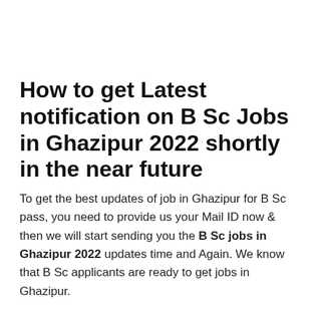How to get Latest notification on B Sc Jobs in Ghazipur 2022 shortly in the near future
To get the best updates of job in Ghazipur for B Sc pass, you need to provide us your Mail ID now & then we will start sending you the B Sc jobs in Ghazipur 2022 updates time and Again. We know that B Sc applicants are ready to get jobs in Ghazipur.
You may easily find so many jobs of B Sc Profile in Ghazipur areas. Collect the best Job news now...